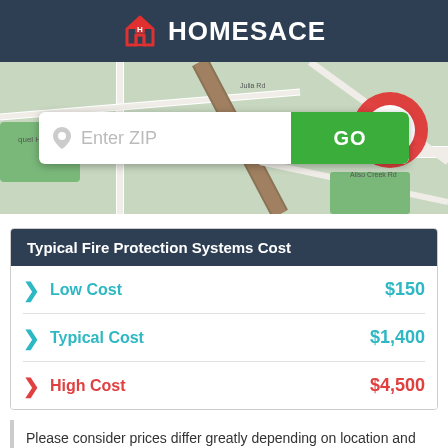HOMESACE
[Figure (map): Street map background with a red map pin/location marker on the right side, and a ZIP code entry bar with a green GO button overlaid in the center]
| Type | Cost |
| --- | --- |
| Low Cost | $150 |
| Typical Cost | $1,400 |
| High Cost | $4,500 |
Please consider prices differ greatly depending on location and specification. For an accurate price, please